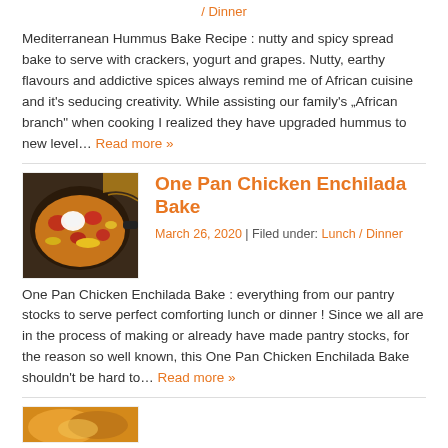/ Dinner
Mediterranean Hummus Bake Recipe : nutty and spicy spread bake to serve with crackers, yogurt and grapes. Nutty, earthy flavours and addictive spices always remind me of African cuisine and it’s seducing creativity. While assisting our family’s „African branch“ when cooking I realized they have upgraded hummus to new level… Read more »
[Figure (photo): Chicken enchilada bake in a black skillet with tomatoes and sour cream]
One Pan Chicken Enchilada Bake
March 26, 2020 | Filed under: Lunch / Dinner
One Pan Chicken Enchilada Bake : everything from our pantry stocks to serve perfect comforting lunch or dinner ! Since we all are in the process of making or already have made pantry stocks, for the reason so well known, this One Pan Chicken Enchilada Bake shouldn’t be hard to… Read more »
[Figure (photo): Partial view of another food dish at the bottom of the page]